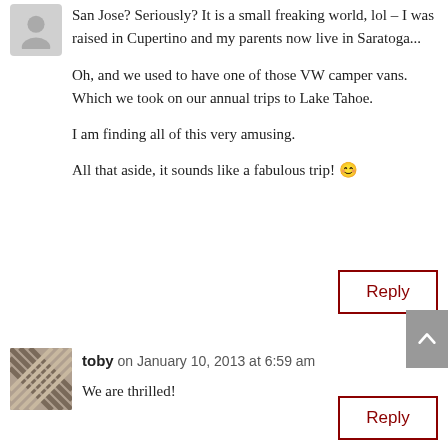[Figure (illustration): Gray avatar/profile picture placeholder icon]
San Jose? Seriously? It is a small freaking world, lol – I was raised in Cupertino and my parents now live in Saratoga...
Oh, and we used to have one of those VW camper vans. Which we took on our annual trips to Lake Tahoe.
I am finding all of this very amusing.
All that aside, it sounds like a fabulous trip! 😊
Reply
[Figure (photo): Thumbnail avatar photo of user toby showing woven/basket texture]
toby on January 10, 2013 at 6:59 am
We are thrilled!
Reply